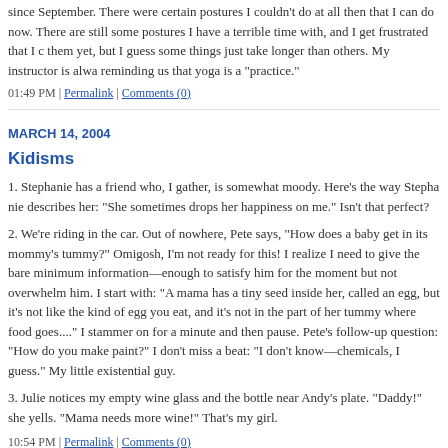since September. There were certain postures I couldn't do at all then that I can do now. There are still some postures I have a terrible time with, and I get frustrated that I can't do them yet, but I guess some things just take longer than others. My instructor is always reminding us that yoga is a "practice."
01:49 PM | Permalink | Comments (0)
MARCH 14, 2004
Kidisms
1. Stephanie has a friend who, I gather, is somewhat moody. Here's the way Stephanie describes her: "She sometimes drops her happiness on me." Isn't that perfect?
2. We're riding in the car. Out of nowhere, Pete says, "How does a baby get in its mommy's tummy?" Omigosh, I'm not ready for this! I realize I need to give the bare minimum of information—enough to satisfy him for the moment but not overwhelm him. I start with: "A mama has a tiny seed inside her, called an egg, but it's not like the kind of egg you eat, and it's not in the part of her tummy where food goes...." I stammer on for a minute and then pause. Pete's follow-up question: "How do you make paint?" I don't miss a beat: "I don't know—chemicals, I guess." My little existential guy.
3. Julie notices my empty wine glass and the bottle near Andy's plate. "Daddy!" she yells. "Mama needs more wine!" That's my girl.
10:54 PM | Permalink | Comments (0)